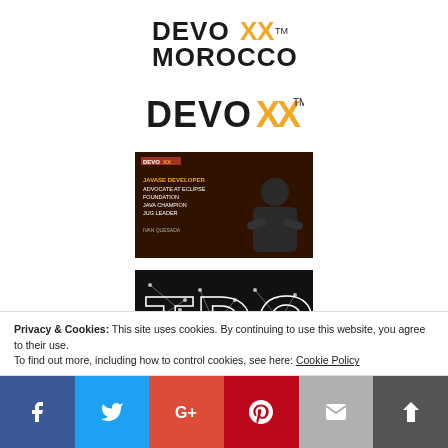[Figure (logo): Devoxx Morocco logo with X in orange]
[Figure (logo): Devoxx logo text in black with orange X and TM mark]
[Figure (photo): Dark promotional image of a speaker with text: JavaEE Developer, Advocate at Eclipse Foundation, Java Champion, JUG Leader]
[Figure (logo): TDC logo in white wireframe letters on black background]
Privacy & Cookies: This site uses cookies. By continuing to use this website, you agree to their use. To find out more, including how to control cookies, see here: Cookie Policy
[Figure (infographic): Social sharing bar with Facebook, Twitter, Google+, Pinterest, Email, and Feedly buttons]